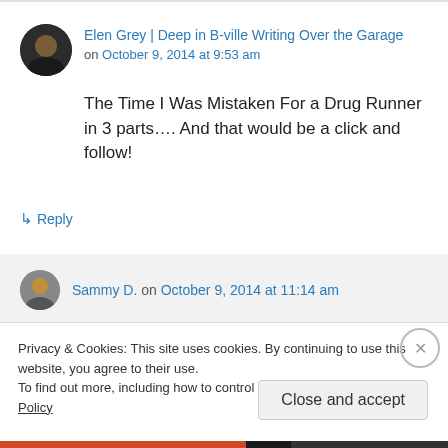Elen Grey | Deep in B-ville Writing Over the Garage on October 9, 2014 at 9:53 am
The Time I Was Mistaken For a Drug Runner in 3 parts…. And that would be a click and follow!
↳ Reply
Sammy D. on October 9, 2014 at 11:14 am
Privacy & Cookies: This site uses cookies. By continuing to use this website, you agree to their use.
To find out more, including how to control cookies, see here: Cookie Policy
Close and accept